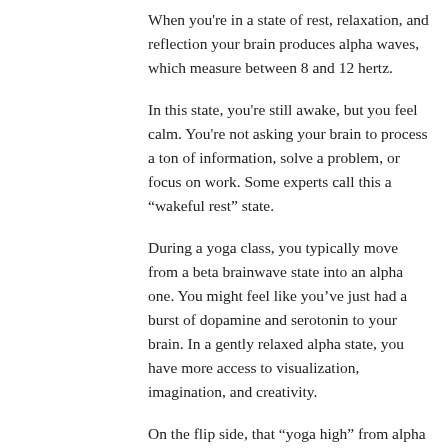When you're in a state of rest, relaxation, and reflection your brain produces alpha waves, which measure between 8 and 12 hertz.
In this state, you're still awake, but you feel calm. You're not asking your brain to process a ton of information, solve a problem, or focus on work. Some experts call this a “wakeful rest” state.
During a yoga class, you typically move from a beta brainwave state into an alpha one. You might feel like you’ve just had a burst of dopamine and serotonin to your brain. In a gently relaxed alpha state, you have more access to visualization, imagination, and creativity.
On the flip side, that “yoga high” from alpha brainwaves might make you feel a little forgetful or spacey – which is why you're more likely to forget your keys, water bottle, or jacket when you pack up to leave your studio.
Theta